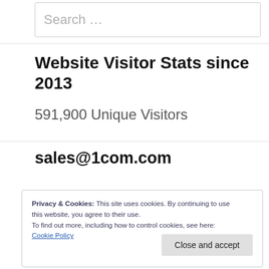Search …
Website Visitor Stats since 2013
591,900 Unique Visitors
sales@1com.com
Privacy & Cookies: This site uses cookies. By continuing to use this website, you agree to their use. To find out more, including how to control cookies, see here: Cookie Policy
Close and accept